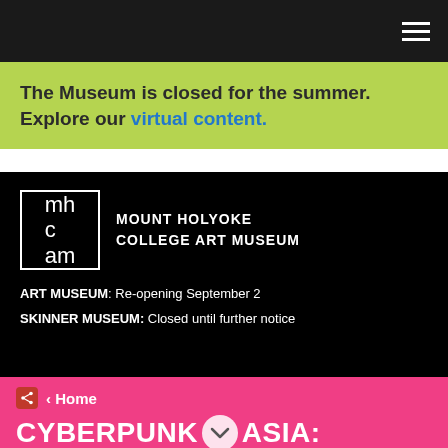[Navigation bar with hamburger menu]
The Museum is closed for the summer. Explore our virtual content.
[Figure (logo): Mount Holyoke College Art Museum logo: mhcam letters in white with square border, and text MOUNT HOLYOKE COLLEGE ART MUSEUM]
ART MUSEUM: Re-opening September 2
SKINNER MUSEUM: Closed until further notice
‹ Home
CYBERPUNK [icon] ASIA: REFLECTIONS ON DYSTOPIA